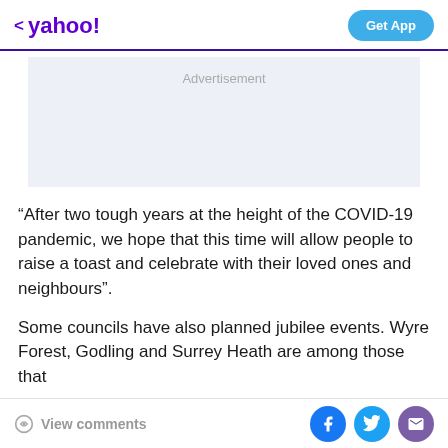yahoo! | Get App
[Figure (other): Advertisement placeholder box with light gray/blue background and 'Advertisement' label centered at top]
“After two tough years at the height of the COVID-19 pandemic, we hope that this time will allow people to raise a toast and celebrate with their loved ones and neighbours”.
Some councils have also planned jubilee events. Wyre Forest, Godling and Surrey Heath are among those that
View comments | Facebook | Twitter | Mail